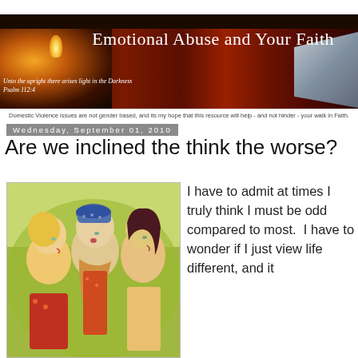[Figure (illustration): Blog banner image: dark red curtain background with candle flame on left and book/pages on right. Title text 'Emotional Abuse and Your Faith' overlaid. Verse text: 'Unto the upright there arises light in the Darkness Psalm 112:4']
Domestic Violence issues are not gender based, and its my hope that this resource will help - and not hinder - your walk in Faith.
Wednesday, September 01, 2010
Are we inclined the think the worse?
[Figure (illustration): Painting of three stylized women figures with elongated features on a green/yellow background, appearing to gossip or whisper to each other.]
I have to admit at times I truly think I must be odd compared to most.  I have to wonder if I just view life different, and it